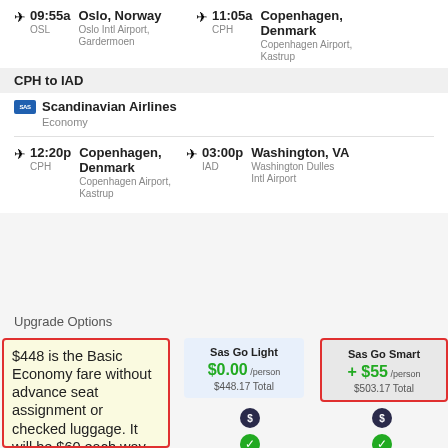09:55a Oslo, Norway OSL Oslo Intl Airport, Gardermoen — 11:05a Copenhagen, Denmark CPH Copenhagen Airport, Kastrup
CPH to IAD
Scandinavian Airlines Economy
12:20p Copenhagen, Denmark CPH Copenhagen Airport, Kastrup — 03:00p Washington, VA IAD Washington Dulles Intl Airport
Upgrade Options
$448 is the Basic Economy fare without advance seat assignment or checked luggage. It will be $60 each way for the 1st bag
|  | Sas Go Light | Sas Go Smart |
| --- | --- | --- |
|  | $0.00 /person
$448.17 Total | + $55 /person
$503.17 Total |
|  | $ icon | $ icon |
|  | ✓ icon | ✓ icon |
|  | $ icon | $ icon |